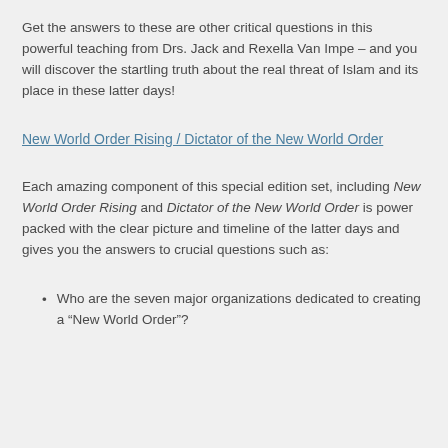Get the answers to these are other critical questions in this powerful teaching from Drs. Jack and Rexella Van Impe – and you will discover the startling truth about the real threat of Islam and its place in these latter days!
New World Order Rising / Dictator of the New World Order
Each amazing component of this special edition set, including New World Order Rising and Dictator of the New World Order is power packed with the clear picture and timeline of the latter days and gives you the answers to crucial questions such as:
Who are the seven major organizations dedicated to creating a “New World Order”?